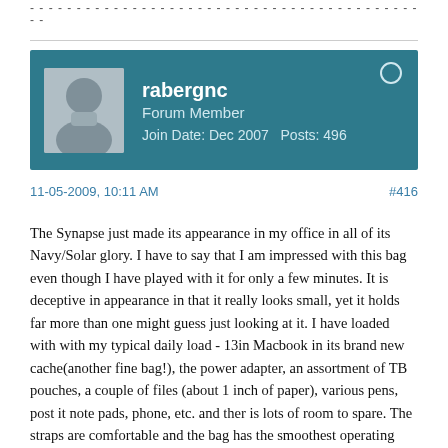----------------------------------------------
rabergnc | Forum Member | Join Date: Dec 2007 | Posts: 496
11-05-2009, 10:11 AM   #416
The Synapse just made its appearance in my office in all of its Navy/Solar glory. I have to say that I am impressed with this bag even though I have played with it for only a few minutes. It is deceptive in appearance in that it really looks small, yet it holds far more than one might guess just looking at it. I have loaded with with my typical daily load - 13in Macbook in its brand new cache(another fine bag!), the power adapter, an assortment of TB pouches, a couple of files (about 1 inch of paper), various pens, post it note pads, phone, etc. and ther is lots of room to spare. The straps are comfortable and the bag has the smoothest operating splash proof zippers I have had to date. This likely will become a daily bag and I can see using it for a travel bag (as personal item for laptop, kindle and assorted stuff). I look forward to using it over the next several days to put it through its paces.